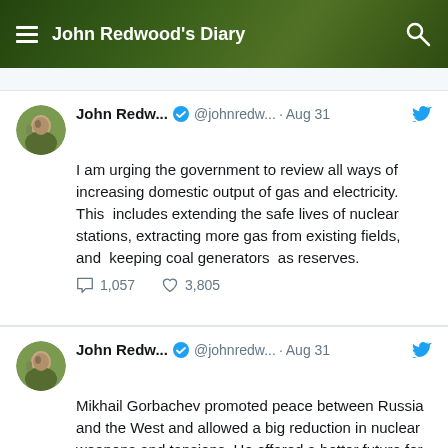John Redwood's Diary
John Redw... @johnredw... · Aug 31
I am urging the government to review all ways of increasing domestic output of gas and electricity. This  includes extending the safe lives of nuclear stations, extracting more gas from existing fields, and  keeping coal generators  as reserves.
1,057  3,805
John Redw... @johnredw... · Aug 31
Mikhail Gorbachev promoted peace between Russia and the West and allowed a big reduction in nuclear weapons and tensions. He offered a better future for Russia and the wider world.
171  1,771